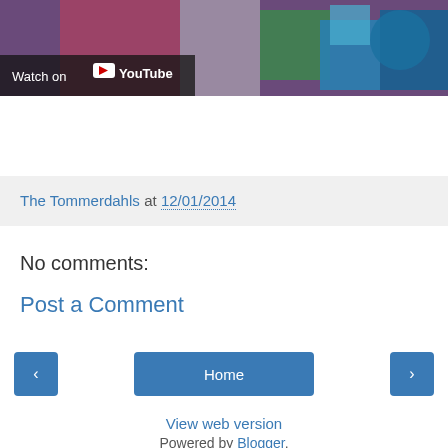[Figure (screenshot): YouTube video thumbnail showing children playing with colorful toy containers, with a 'Watch on YouTube' overlay badge in the lower left]
The Tommerdahls at 12/01/2014
No comments:
Post a Comment
Home
View web version
Powered by Blogger.